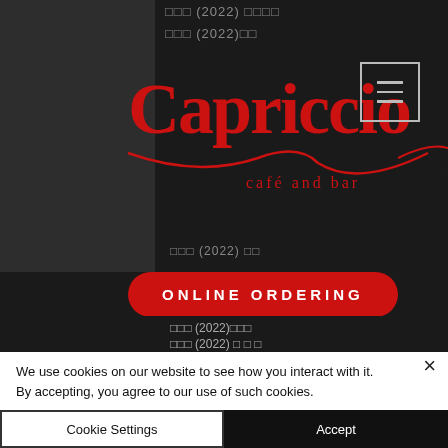[Figure (screenshot): Screenshot of Capriccio café and bar website with dark background, red logo, hamburger menu, Online Ordering button, and garbled text list items]
□□□ (2022) □□□□
□□□ (2022)□□
□□□ (2022) □□
ONLINE ORDERING
□□□ (2022) □□□□□□□□□
□□□ (2022)()□□□□
□□□ (2022)|1080P|□□□□
□□□ (2022)□□□()□□□
□□□ (2022)□□□()□□□□□□□ (2022)□ □□□□□()
□□□ (2022)□□□
□□□ (2022) □ □ □
We use cookies on our website to see how you interact with it. By accepting, you agree to our use of such cookies.
Cookie Settings
Accept